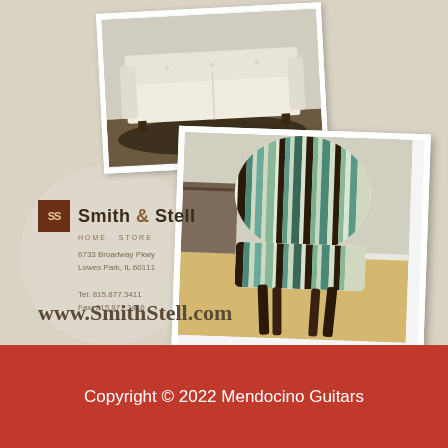[Figure (photo): Advertisement for Smith & Stell featuring two furniture photos (a white sofa and a striped accent chair) on a beige background, with company logo, address, and website]
Smith & Stell
6733 Broadway Pkwy
Lowes Park, IL 60111

Tel: 815.877.3411
Fax: 815.877.3416
www.SmithStell.com
Copyright © 2022 Mendocino Guitars